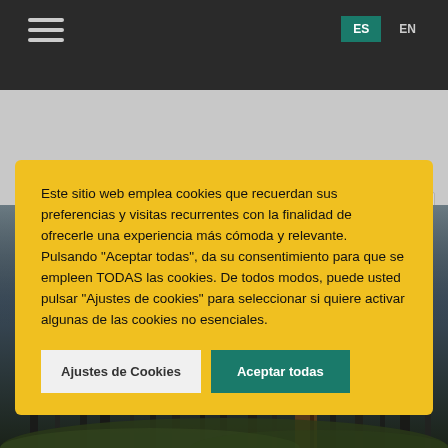[Figure (screenshot): Website navigation bar with hamburger menu icon on left and ES/EN language buttons on right, dark background]
[Figure (screenshot): Gray section of website with partial card visible]
Este sitio web emplea cookies que recuerdan sus preferencias y visitas recurrentes con la finalidad de ofrecerle una experiencia más cómoda y relevante. Pulsando "Aceptar todas", da su consentimiento para que se empleen TODAS las cookies. De todos modos, puede usted pulsar "Ajustes de cookies" para seleccionar si quiere activar algunas de las cookies no esenciales.
Ajustes de Cookies
Aceptar todas
[Figure (photo): Misty forest with tall dark tree trunks and foggy atmosphere, green moss on ground]